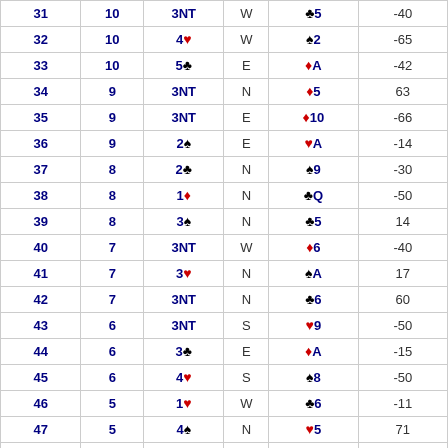| # | Tricks | Contract | By | Lead | Score |
| --- | --- | --- | --- | --- | --- |
| 31 | 10 | 3NT | W | ♣5 | -40 |
| 32 | 10 | 4♥ | W | ♠2 | -65 |
| 33 | 10 | 5♣ | E | ♦A | -42 |
| 34 | 9 | 3NT | N | ♦5 | 63 |
| 35 | 9 | 3NT | E | ♦10 | -66 |
| 36 | 9 | 2♠ | E | ♥A | -14 |
| 37 | 8 | 2♣ | N | ♠9 | -30 |
| 38 | 8 | 1♦ | N | ♣Q | -50 |
| 39 | 8 | 3♠ | N | ♣5 | 14 |
| 40 | 7 | 3NT | W | ♦6 | -40 |
| 41 | 7 | 3♥ | N | ♠A | 17 |
| 42 | 7 | 3NT | N | ♣6 | 60 |
| 43 | 6 | 3NT | S | ♥9 | -50 |
| 44 | 6 | 3♣ | E | ♦A | -15 |
| 45 | 6 | 4♥ | S | ♠8 | -50 |
| 46 | 5 | 1♥ | W | ♣6 | -11 |
| 47 | 5 | 4♠ | N | ♥5 | 71 |
| 48 | 5 | 3♥ | N | ♥A | -50 |
| 49 | 4 | 1♠ | N | ♦A | 80 |
| 50 | 4 | 3NT | E | ♥7 | -46 |
| 51 | 4 | 3♠ | W | ♠7 | 10 |